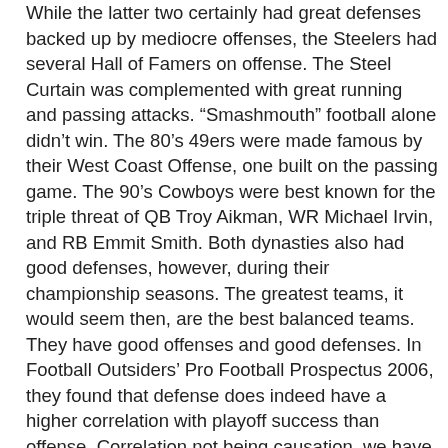While the latter two certainly had great defenses backed up by mediocre offenses, the Steelers had several Hall of Famers on offense. The Steel Curtain was complemented with great running and passing attacks. “Smashmouth” football alone didn’t win. The 80’s 49ers were made famous by their West Coast Offense, one built on the passing game. The 90’s Cowboys were best known for the triple threat of QB Troy Aikman, WR Michael Irvin, and RB Emmit Smith. Both dynasties also had good defenses, however, during their championship seasons. The greatest teams, it would seem then, are the best balanced teams. They have good offenses and good defenses. In Football Outsiders’ Pro Football Prospectus 2006, they found that defense does indeed have a higher correlation with playoff success than offense. Correlation not being causation, we have to ask why offense would suddenly become less valuable in the postseason. How is the postseason different than the regular season? The competition is much better. If the proportion of teams with good offenses is higher in the postseason than in the regular season, then the only thing that will separate the best from the good is defense (and special teams to a lesser extent).